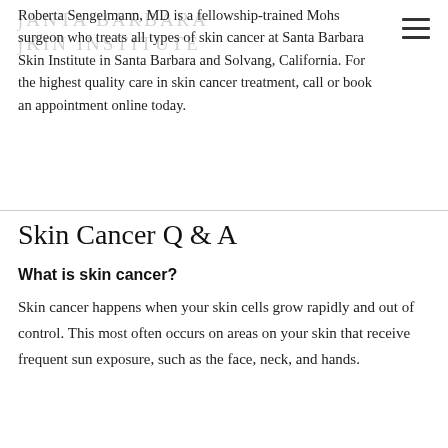Roberta Sengelmann, MD is a fellowship-trained Mohs surgeon who treats all types of skin cancer at Santa Barbara Skin Institute in Santa Barbara and Solvang, California. For the highest quality care in skin cancer treatment, call or book an appointment online today.
Skin Cancer Q & A
What is skin cancer?
Skin cancer happens when your skin cells grow rapidly and out of control. This most often occurs on areas on your skin that receive frequent sun exposure, such as the face, neck, and hands.